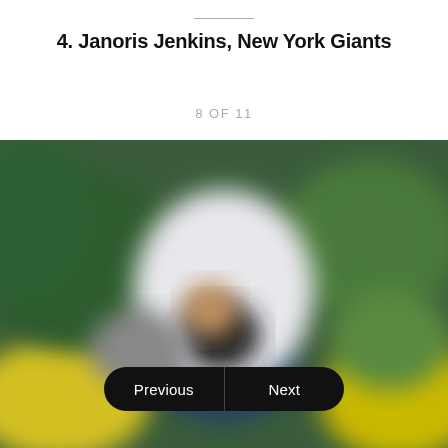4. Janoris Jenkins, New York Giants
8 OF 11
[Figure (photo): Blurred action photo of a football player in a white jersey, with green and yellow background colors suggesting an NFL game setting.]
Previous | Next